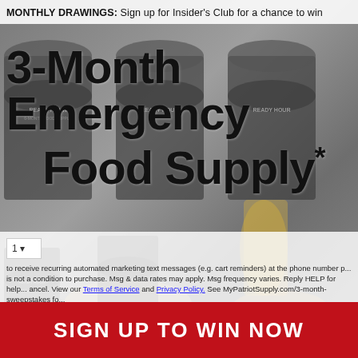MONTHLY DRAWINGS: Sign up for Insider's Club for a chance to win
3-Month Emergency Food Supply*
[Figure (photo): Background photo of Ready Hour emergency food supply buckets and prepared food dishes]
1
to receive recurring automated marketing text messages (e.g. cart reminders) at the phone number p... is not a condition to purchase. Msg & data rates may apply. Msg frequency varies. Reply HELP for help... ancel. View our Terms of Service and Privacy Policy. See MyPatriotSupply.com/3-month-sweepstakes fo...
SIGN UP TO WIN NOW